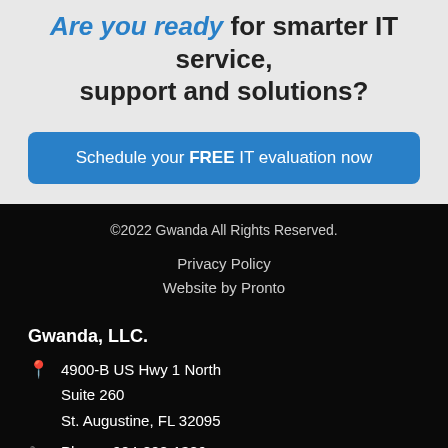Are you ready for smarter IT service, support and solutions?
Schedule your FREE IT evaluation now
©2022 Gwanda All Rights Reserved.
Privacy Policy
Website by Pronto
Gwanda, LLC.
4900-B US Hwy 1 North
Suite 260
St. Augustine, FL 32095
Phone: 904-808-1386
Emergency Support: 904-808-1386